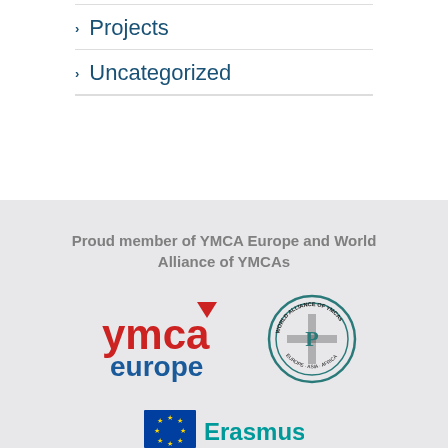Projects
Uncategorized
Proud member of YMCA Europe and World Alliance of YMCAs
[Figure (logo): YMCA Europe logo - red text 'ymca' with red inverted triangle, blue text 'europe']
[Figure (logo): World Alliance of YMCAs circular seal/emblem in teal/black]
[Figure (logo): Erasmus+ logo - EU blue rectangle with yellow stars and 'Erasmus+' text in teal]